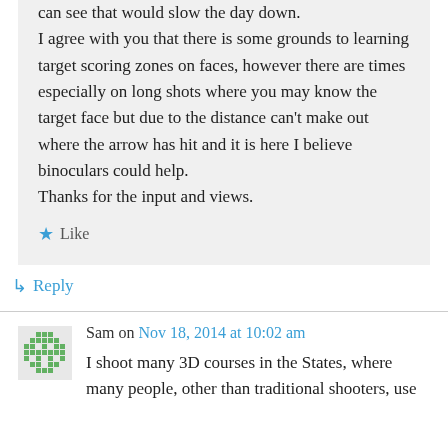can see that would slow the day down. I agree with you that there is some grounds to learning target scoring zones on faces, however there are times especially on long shots where you may know the target face but due to the distance can't make out where the arrow has hit and it is here I believe binoculars could help. Thanks for the input and views.
★ Like
↳ Reply
Sam on Nov 18, 2014 at 10:02 am
I shoot many 3D courses in the States, where many people, other than traditional shooters, use